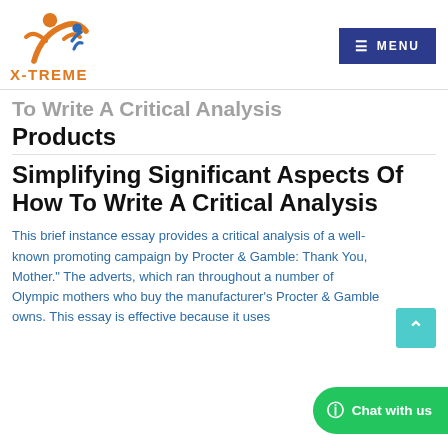[Figure (logo): X-TREME logo with orange and blue figure and orange X-TREME text]
To Write A Critical Analysis Products
Simplifying Significant Aspects Of How To Write A Critical Analysis
This brief instance essay provides a critical analysis of a well-known promoting campaign by Procter & Gamble: Thank You, Mother." The adverts, which ran throughout a number of Olympic mothers who buy the manufacturers Procter & Gamble owns. This essay is effective because it uses